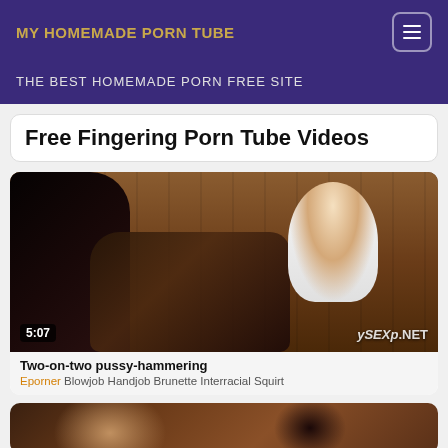MY HOMEMADE PORN TUBE
THE BEST HOMEMADE PORN FREE SITE
Free Fingering Porn Tube Videos
[Figure (photo): Video thumbnail showing multiple people, duration badge '5:07' bottom left, watermark 'ySEXp.NET' bottom right]
Two-on-two pussy-hammering
Eporner Blowjob Handjob Brunette Interracial Squirt
[Figure (photo): Partially visible second video thumbnail]